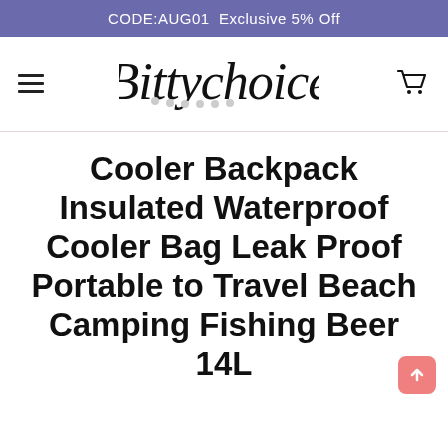CODE:AUG01  Exclusive 5% Off
[Figure (logo): Bittychoice script logo with hamburger menu and shopping cart icon]
Cooler Backpack Insulated Waterproof Cooler Bag Leak Proof Portable to Travel Beach Camping Fishing Beer 14L